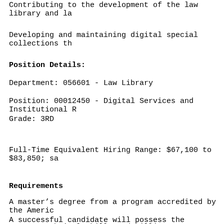Contributing to the development of the law library and la
Developing and maintaining digital special collections th
Position Details:
Department: 056601 - Law Library
Position: 00012450 - Digital Services and Institutional R
Grade: 3RD
Full-Time Equivalent Hiring Range: $67,100 to $83,850; sa
Requirements
A master’s degree from a program accredited by the Americ
A successful candidate will possess the following skills
Strong technical skills and willingness to learn and adop